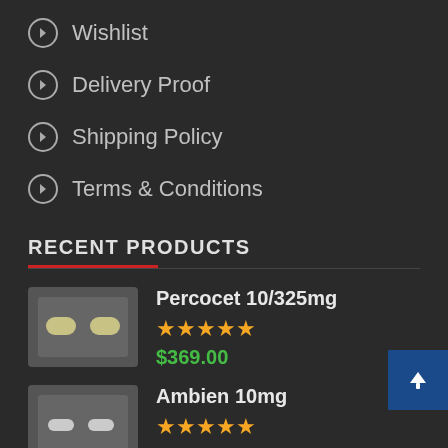Wishlist
Delivery Proof
Shipping Policy
Terms & Conditions
RECENT PRODUCTS
[Figure (photo): Product image of Percocet 10/325mg pills on gray background]
Percocet 10/325mg ★★★★★ $369.00
[Figure (photo): Product image of Ambien 10mg pills on gray background]
Ambien 10mg ★★★★★